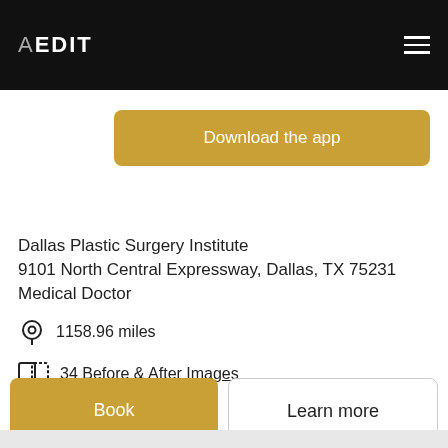AEDIT
Download the app
Dallas Plastic Surgery Institute
9101 North Central Expressway, Dallas, TX 75231
Medical Doctor
1158.96 miles
34 Before & After Images
Book
Learn more